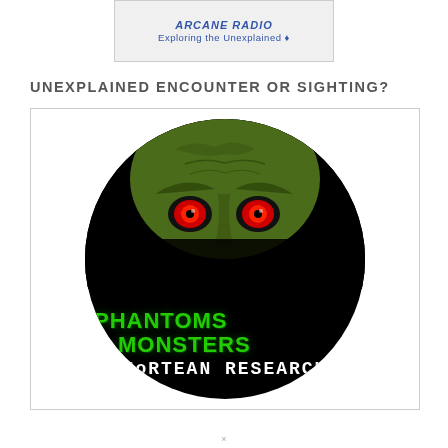[Figure (logo): Arcane Radio – Exploring the Unexplained logo banner at top of page]
UNEXPLAINED ENCOUNTER OR SIGHTING?
[Figure (logo): Phantoms & Monsters Fortean Research circular logo with green monster face and red eyes on black background]
×